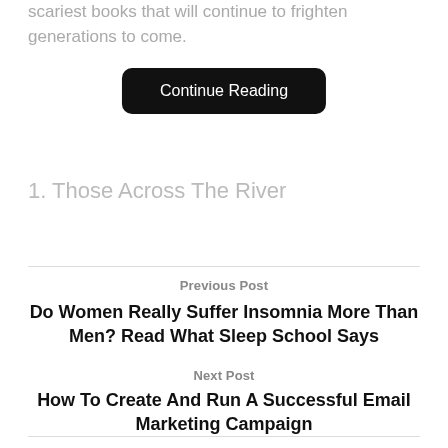scariest books that will continue to frighten generations to come.
Continue Reading
1. Those Across The River
Previous Post
Do Women Really Suffer Insomnia More Than Men? Read What Sleep School Says
Next Post
How To Create And Run A Successful Email Marketing Campaign
Related Posts